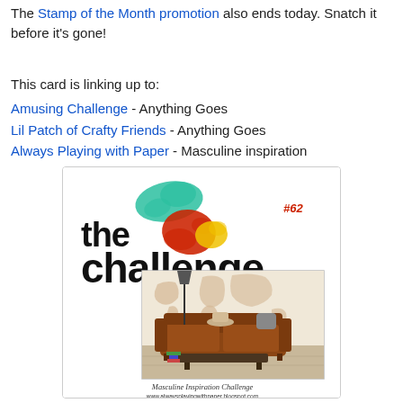The Stamp of the Month promotion also ends today. Snatch it before it's gone!
This card is linking up to:
Amusing Challenge - Anything Goes
Lil Patch of Crafty Friends - Anything Goes
Always Playing with Paper - Masculine inspiration
[Figure (illustration): Badge/logo image for 'the challenge #62' - a Masculine Inspiration Challenge from alwaysplayingwithpaper.blogspot.com, showing a masculine styled room with a brown leather Chesterfield sofa in front of a world map mural, with text 'Masculine Inspiration Challenge' and website at the bottom.]